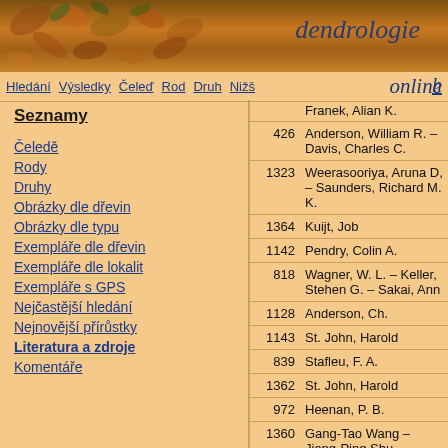[Figure (photo): Autumn leaves background header image with dendrologie text overlay]
Hledání Výsledky Čeleď Rod Druh Nižš online
Seznamy
Čeledě
Rody
Druhy
Obrázky dle dřevin
Obrázky dle typu
Exempláře dle dřevin
Exempláře dle lokalit
Exempláře s GPS
Nejčastější hledání
Nejnovější přírůstky
Literatura a zdroje
Komentáře
|  | Author |
| --- | --- |
|  | Franek, Alian K. |
| 426 | Anderson, William R. – Davis, Charles C. |
| 1323 | Weerasooriya, Aruna D, – Saunders, Richard M. K. |
| 1364 | Kuijt, Job |
| 1142 | Pendry, Colin A. |
| 818 | Wagner, W. L. – Keller, Stehen G. – Sakai, Ann |
| 1128 | Anderson, Ch. |
| 1143 | St. John, Harold |
| 839 | Stafleu, F. A. |
| 1362 | St. John, Harold |
| 972 | Heenan, P. B. |
| 1360 | Gang-Tao Wang – Jiang-Ping Shu – |